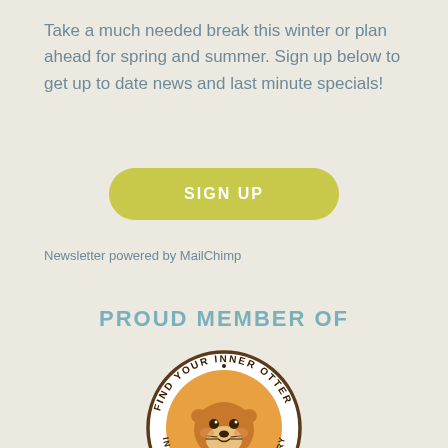Take a much needed break this winter or plan ahead for spring and summer. Sign up below to get up to date news and last minute specials!
[Figure (other): Yellow-green rounded rectangle button with white text 'SIGN UP']
Newsletter powered by MailChimp
PROUD MEMBER OF
[Figure (logo): Circular badge logo reading 'FIND YOUR INNER OTTER' and 'IN OTTER TAIL LAKES COUNTRY' with an illustrated otter face in the center on an orange background]